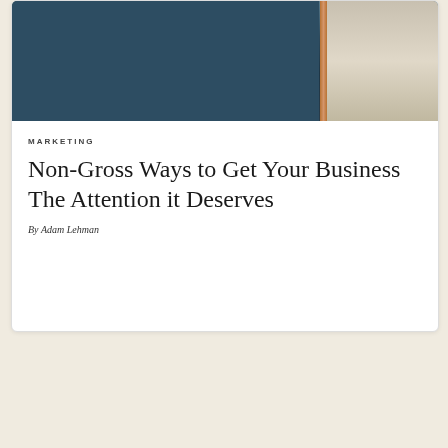[Figure (photo): Interior photo showing a dark navy blue wall with a copper pipe/fixture, and a lighter panel or doorframe to the right with what appears to be concrete or stone flooring visible]
MARKETING
Non-Gross Ways to Get Your Business The Attention it Deserves
By Adam Lehman